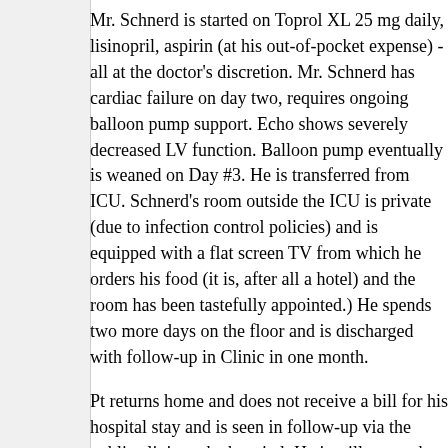Mr. Schnerd is started on Toprol XL 25 mg daily, lisinopril, aspirin (at his out-of-pocket expense) - all at the doctor's discretion. Mr. Schnerd has cardiac failure on day two, requires ongoing balloon pump support. Echo shows severely decreased LV function. Balloon pump eventually is weaned on Day #3. He is transferred from ICU. Schnerd's room outside the ICU is private (due to infection control policies) and is equipped with a flat screen TV from which he orders his food (it is, after all a hotel) and the room has been tastefully appointed.) He spends two more days on the floor and is discharged with follow-up in Clinic in one month.
Pt returns home and does not receive a bill for his hospital stay and is seen in follow-up via the public clinic at the hospital. He is still somewhat short of breath.
Despite his care, Mr. Schnerd continues to have ongoing angina and returns to the ER where he is admitted and another angiogram performed which was unchanged. He is referred for bypass because of his young age and pain refractory to medical therapy. He is evaluated and seen by the surgeon the same day, and elective surgery scheduled.
His post operative stay is uncomplicated and he returns home in good condition. His inpatient stay and surgery is submitted to Medicaid and his follow-up is seen in the public clinic.
Approximately 6 weeks later, Mr. Schnerd notes palpitations and is brought to the ER where his is found to be in sustained monomorphic ventricular tachycardia and is cardioverted. Another angiogram performed and his bypass vessels are patent.